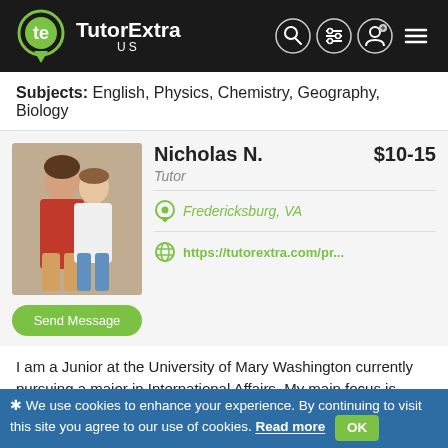TutorExtra US
Subjects: English, Physics, Chemistry, Geography, Biology
[Figure (photo): Profile photo of a young couple, man in red shirt and woman in white top, standing in front of a brick wall]
Nicholas N. $10-15
Tutor
Fredericksburg, VA
https://tutorextra.com/pr...
Send Message
I am a Junior at the University of Mary Washington currently pursuing a major in International Affairs. My main focus is...
Subjects: Biology, Spanish, Basic Math, Political Science, World History
❋ We use cookies to enhance your experience. By continuing to visit this site you agree to our use of cookies. Read more OK